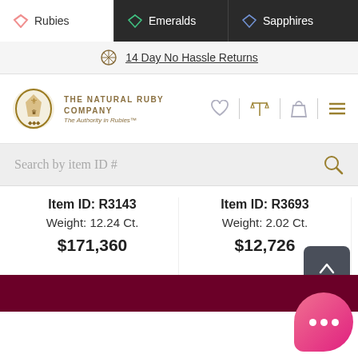Rubies | Emeralds | Sapphires
14 Day No Hassle Returns
[Figure (logo): The Natural Ruby Company crest logo with tagline 'The Authority in Rubies™']
Search by item ID #
Item ID: R3143
Weight: 12.24 Ct.
$171,360
Item ID: R3693
Weight: 2.02 Ct.
$12,726
It
W